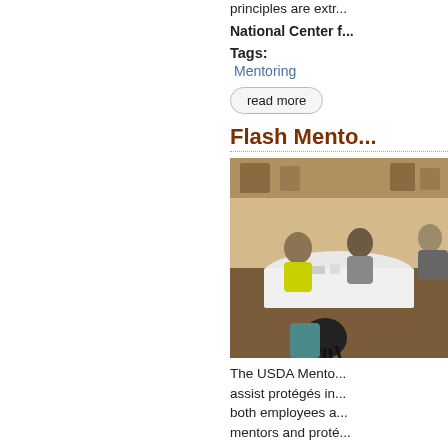principles are extr...
National Center f...
Tags:
Mentoring
read more
Flash Mento...
[Figure (photo): People seated around a table in a restaurant/meeting setting, appearing to have a mentoring discussion.]
The USDA Mento... assist protégés in... both employees a... mentors and prote...
Tags:
Mentoring